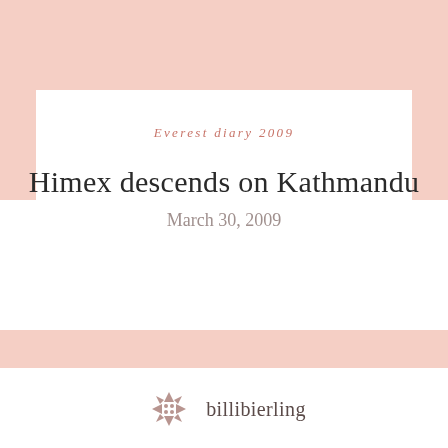Everest diary 2009
Himex descends on Kathmandu
March 30, 2009
[Figure (logo): Decorative geometric snowflake/compass-rose logo mark in muted rose/taupe color]
billibierling